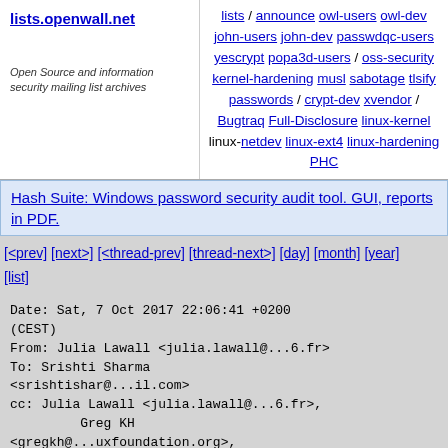lists.openwall.net — Open Source and information security mailing list archives
lists / announce owl-users owl-dev john-users john-dev passwdqc-users yescrypt popa3d-users / oss-security kernel-hardening musl sabotage tlsify passwords / crypt-dev xvendor / Bugtraq Full-Disclosure linux-kernel linux-netdev linux-ext4 linux-hardening PHC
Hash Suite: Windows password security audit tool. GUI, reports in PDF.
[<prev>] [next>] [<thread-prev] [thread-next>] [day] [month] [year] [list]
Date:    Sat, 7 Oct 2017 22:06:41 +0200 (CEST)
From:    Julia Lawall <julia.lawall@...6.fr>
To:      Srishti Sharma <srishtishar@...il.com>
cc:      Julia Lawall <julia.lawall@...6.fr>,
         Greg KH <gregkh@...uxfoundation.org>,
         devel@...verdev.osuosl.org,
         Linux kernel mailing list <linux-kernel@...r.kernel.org>,